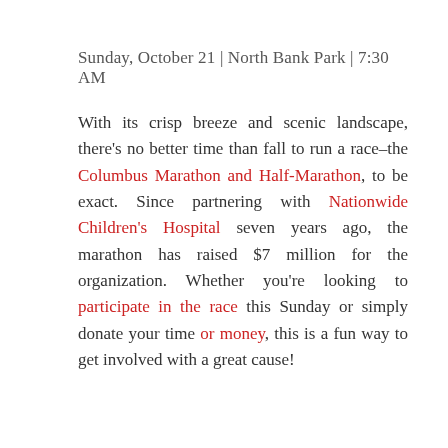Sunday, October 21 | North Bank Park | 7:30 AM
With its crisp breeze and scenic landscape, there's no better time than fall to run a race–the Columbus Marathon and Half-Marathon, to be exact. Since partnering with Nationwide Children's Hospital seven years ago, the marathon has raised $7 million for the organization. Whether you're looking to participate in the race this Sunday or simply donate your time or money, this is a fun way to get involved with a great cause!